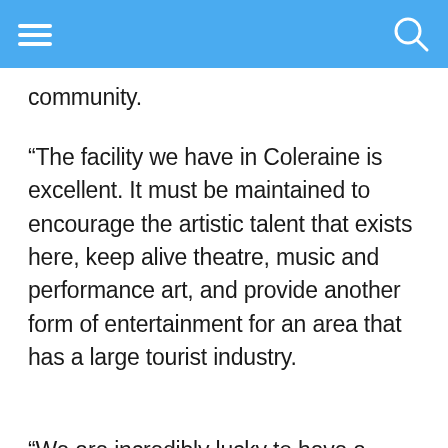[hamburger menu] [search icon]
community.
“The facility we have in Coleraine is excellent. It must be maintained to encourage the artistic talent that exists here, keep alive theatre, music and performance art, and provide another form of entertainment for an area that has a large tourist industry.
“We are incredibly lucky to have a resource like Riverside Theatre here, the closest theatre of its